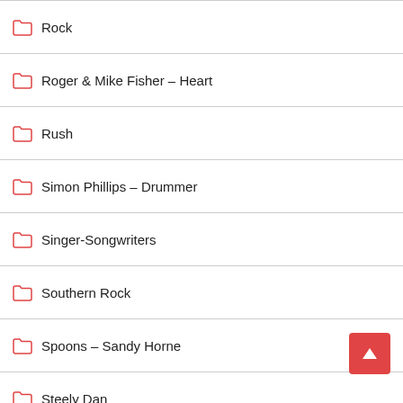Rock
Roger & Mike Fisher – Heart
Rush
Simon Phillips – Drummer
Singer-Songwriters
Southern Rock
Spoons – Sandy Horne
Steely Dan
Steve Hackett
Steve Lukather – toto
Supertramp
Swag